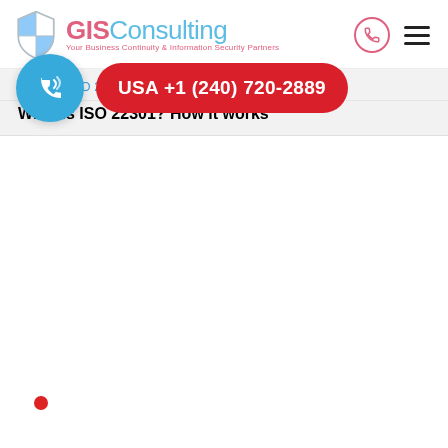[Figure (logo): GISConsulting logo with shield icon and tagline 'Your Business Continuity & Information Security Partners']
Home / ISO 22301 /
What is ISO 22301? How it works
[Figure (other): Red bullet dot]
[Figure (infographic): Blue phone circle button and red pill button with USA +1 (240) 720-2889]